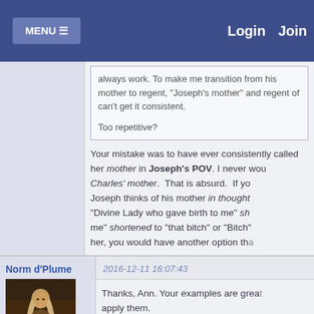MENU  Login  Join
always work. To make me transition from his mother to regent, "Joseph's mother" and regent of can't get it consistent.

Too repetitive?
Your mistake was to have ever consistently called her mother in Joseph's POV. I never would have called her Charles' mother. That is absurd. If you are in Joseph's POV and Joseph thinks of his mother in thought, she is the "Divine Lady who gave birth to me" shortened to "that bitch" or "Bitch" etc. If you were writing her, you would have another option tha
Norm d'Plume
2016-12-11 16:07:43
Thanks, Ann. Your examples are great apply them.